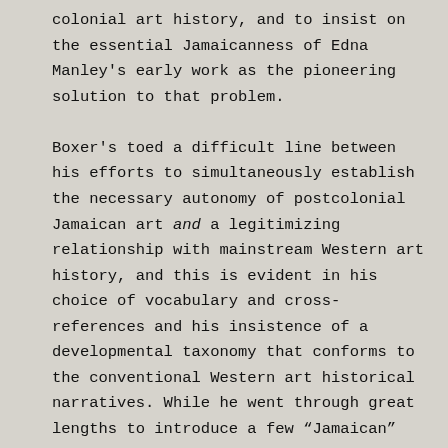colonial art history, and to insist on the essential Jamaicanness of Edna Manley's early work as the pioneering solution to that problem.

Boxer's toed a difficult line between his efforts to simultaneously establish the necessary autonomy of postcolonial Jamaican art and a legitimizing relationship with mainstream Western art history, and this is evident in his choice of vocabulary and cross-references and his insistence of a developmental taxonomy that conforms to the conventional Western art historical narratives. While he went through great lengths to introduce a few “Jamaican” terms and concepts, such as his own